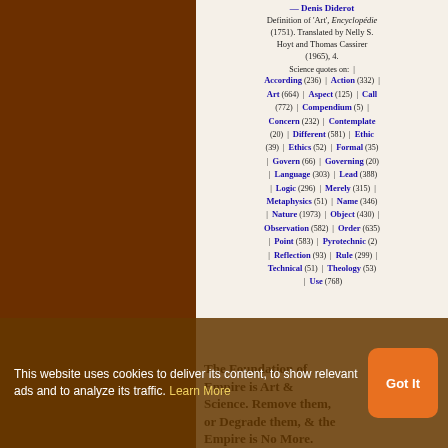— Denis Diderot
Definition of 'Art', Encyclopédie (1751). Translated by Nelly S. Hoyt and Thomas Cassirer (1965), 4.
Science quotes on: | According (236) | Action (332) | Art (664) | Aspect (125) | Call (772) | Compendium (5) | Concern (232) | Contemplate (20) | Different (581) | Ethic (39) | Ethics (52) | Formal (35) | Govern (66) | Governing (20) | Language (303) | Lead (388) | Logic (296) | Merely (315) | Metaphysics (51) | Name (346) | Nature (1973) | Object (430) | Observation (582) | Order (635) | Point (583) | Pyrotechnic (2) | Reflection (93) | Rule (299) | Technical (51) | Theology (53) | Use (768)
The Foundation of Empire is Art & Science. Remove them, or Degrade them, & the Empire is No More.
This website uses cookies to deliver its content, to show relevant ads and to analyze its traffic. Learn More